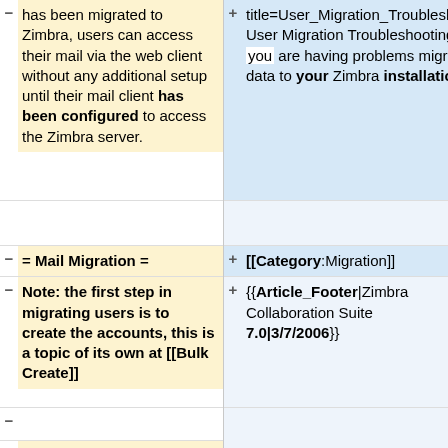has been migrated to Zimbra, users can access their mail via the web client without any additional setup until their mail client has been configured to access the Zimbra server.
title=User_Migration_Troubleshooting User Migration Troubleshooting] if you are having problems migrating data to your Zimbra installation.
= Mail Migration =
[[Category:Migration]]
Note: the first step in migrating users is to create the accounts, this is a topic of its own at [[Bulk Create]]
{{Article_Footer|Zimbra Collaboration Suite 7.0|3/7/2006}}
== from IMAP ==